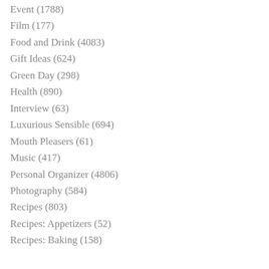Event (1788)
Film (177)
Food and Drink (4083)
Gift Ideas (624)
Green Day (298)
Health (890)
Interview (63)
Luxurious Sensible (694)
Mouth Pleasers (61)
Music (417)
Personal Organizer (4806)
Photography (584)
Recipes (803)
Recipes: Appetizers (52)
Recipes: Baking (158)